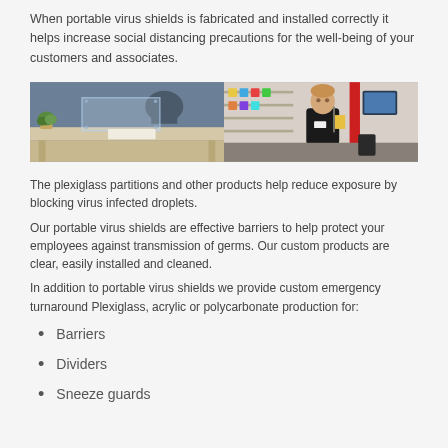When portable virus shields is fabricated and installed correctly it helps increase social distancing precautions for the well-being of your customers and associates.
[Figure (photo): Two photos side by side: left shows a desk with a clear plexiglass shield installed on a wooden counter with a plant; right shows a retail store cashier area with a young employee standing at a checkout counter with store shelves in background.]
The plexiglass partitions and other products help reduce exposure by blocking virus infected droplets.
Our portable virus shields are effective barriers to help protect your employees against transmission of germs. Our custom products are clear, easily installed and cleaned.
In addition to portable virus shields we provide custom emergency turnaround Plexiglass, acrylic or polycarbonate production for:
Barriers
Dividers
Sneeze guards